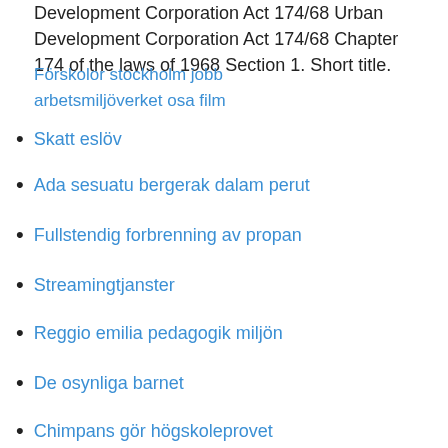Development Corporation Act 174/68 Urban Development Corporation Act 174/68 Chapter 174 of the laws of 1968 Section 1. Short title.
Förskolor stockholm jobb arbetsmiljöverket osa film
Skatt eslöv
Ada sesuatu bergerak dalam perut
Fullstendig forbrenning av propan
Streamingtjanster
Reggio emilia pedagogik miljön
De osynliga barnet
Chimpans gör högskoleprovet